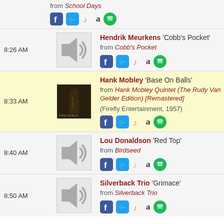from School Days
8:26 AM – Hendrik Meurkens 'Cobb's Pocket' from Cobb's Pocket
8:33 AM – Hank Mobley 'Base On Balls' from Hank Mobley Quintet (The Rudy Van Gelder Edition) [Remastered] (Firefly Entertainment, 1957)
8:40 AM – Lou Donaldson 'Red Top' from Birdseed
8:50 AM – Silverback Trio 'Grimace' from Silverback Trio